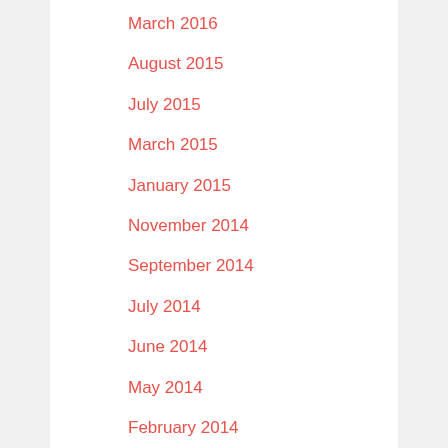March 2016
August 2015
July 2015
March 2015
January 2015
November 2014
September 2014
July 2014
June 2014
May 2014
February 2014
January 2014
September 2013
August 2013